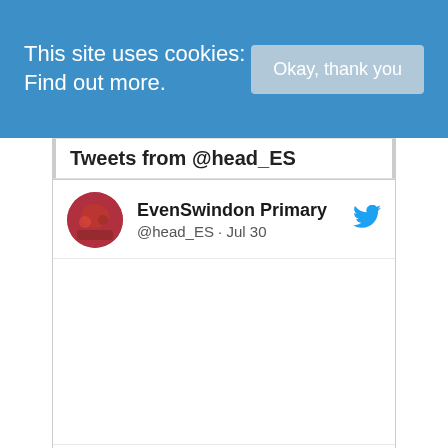This site uses cookies: Find out more.
Okay, thank you
Tweets from @head_ES
EvenSwindon Primary @head_ES · Jul 30
[Figure (photo): Blank tweet body area]
♡ 2
EvenSwindon Primary @head_ES · Jul 22